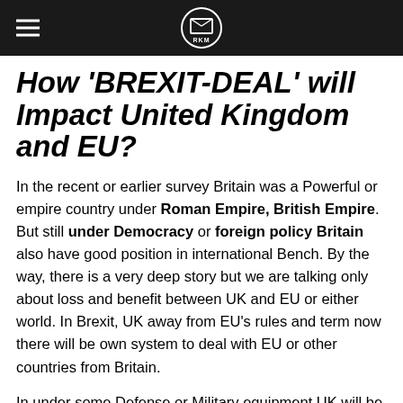RKM
How 'BREXIT-DEAL' will Impact United Kingdom and EU?
In the recent or earlier survey Britain was a Powerful or empire country under Roman Empire, British Empire. But still under Democracy or foreign policy Britain also have good position in international Bench. By the way, there is a very deep story but we are talking only about loss and benefit between UK and EU or either world. In Brexit, UK away from EU’s rules and term now there will be own system to deal with EU or other countries from Britain.
In under some Defense or Military equipment UK will be down to return in the race of Weapons or technology. there is some way of negotiation like Space Defense or Arms Tech with EU, but UK’s Government announce they will not